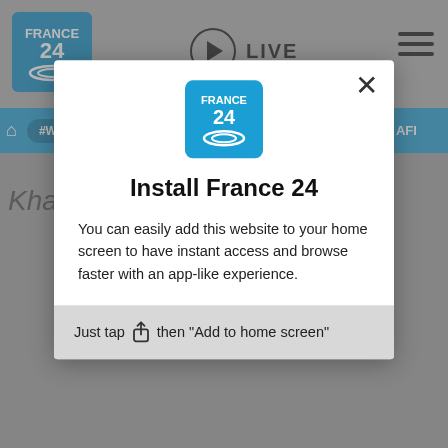[Figure (screenshot): France 24 website with navigation bar showing #WAR IN UKRAINE, #IRAQ, #PAKISTAN, FRANCE, AFI tabs, and a LIVE button in the header. Partial text 'Khartou' visible in background.]
Install France 24
You can easily add this website to your home screen to have instant access and browse faster with an app-like experience.
Just tap then "Add to home screen"